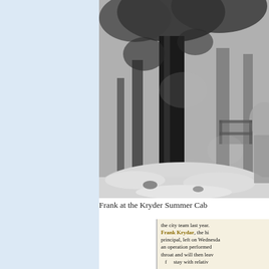[Figure (photo): Black and white outdoor photograph showing a large tree trunk in the foreground with wooded background and snow on the ground. A person is partially visible at the right edge.]
Frank at the Kryder Summer Cab
[Figure (photo): Clipping from a newspaper mentioning Frank Krydar, the high school principal, leaving on Wednesday for an operation performed on his throat, then leaving.]